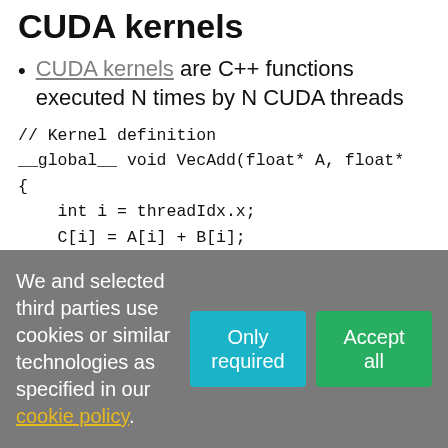CUDA kernels
CUDA kernels are C++ functions executed N times by N CUDA threads
We and selected third parties use cookies or similar technologies as specified in our cookie policy.